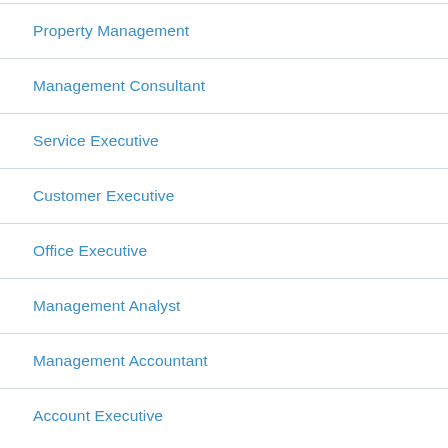Property Management
Management Consultant
Service Executive
Customer Executive
Office Executive
Management Analyst
Management Accountant
Account Executive